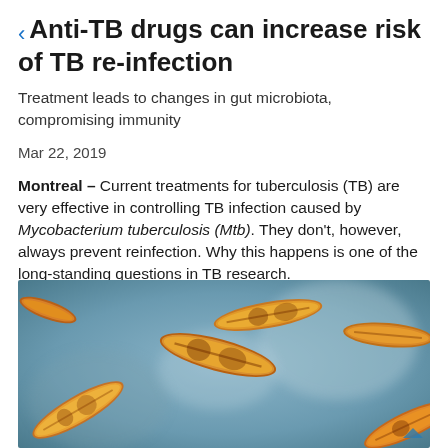Anti-TB drugs can increase risk of TB re-infection
Treatment leads to changes in gut microbiota, compromising immunity
Mar 22, 2019
Montreal – Current treatments for tuberculosis (TB) are very effective in controlling TB infection caused by Mycobacterium tuberculosis (Mtb). They don't, however, always prevent reinfection. Why this happens is one of the long-standing questions in TB research.
[Figure (photo): Microscopic image of Mycobacterium tuberculosis bacteria, shown as golden-yellow rod-shaped organisms against a blurred blue-grey background.]